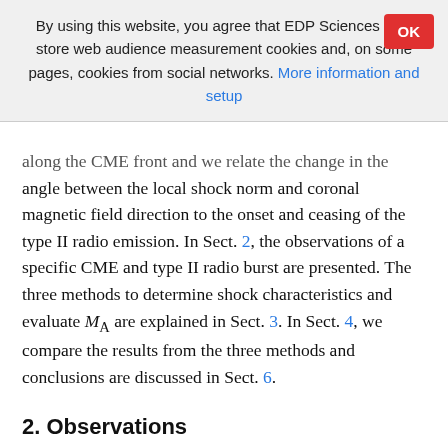By using this website, you agree that EDP Sciences may store web audience measurement cookies and, on some pages, cookies from social networks. More information and setup
along the CME front and we relate the change in the angle between the local shock norm and coronal magnetic field direction to the onset and ceasing of the type II radio emission. In Sect. 2, the observations of a specific CME and type II radio burst are presented. The three methods to determine shock characteristics and evaluate M_A are explained in Sect. 3. In Sect. 4, we compare the results from the three methods and conclusions are discussed in Sect. 6.
2. Observations
A GOES C7.7 class flare (Fig. 1f) began on 2017